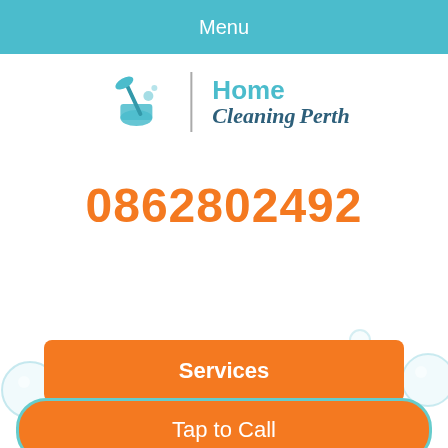Menu
[Figure (logo): Home Cleaning Perth logo with mop and bucket icon, teal and dark blue text]
0862802492
[Figure (illustration): Decorative soap bubbles scattered across the lower portion of the page]
Services
Tap to Call
End of Lease Cleaning Woodvale 6026